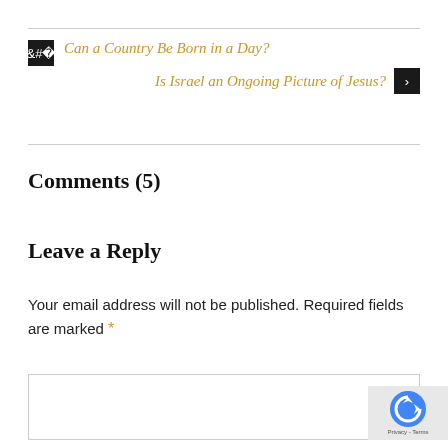Can a Country Be Born in a Day?
Is Israel an Ongoing Picture of Jesus?
Comments (5)
Leave a Reply
Your email address will not be published. Required fields are marked *